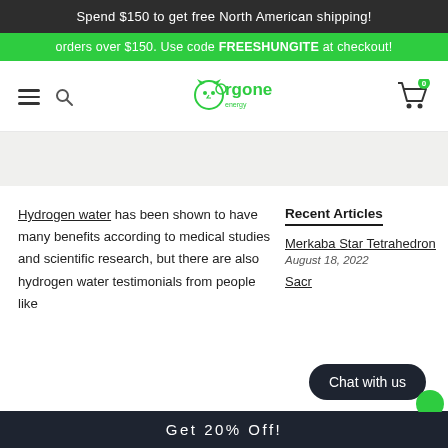Spend $150 to get free North American shipping!
orders over $150. Use code FREESHUNGITE at checkout!
[Figure (logo): Orgone Energy logo with green cat/mascot icon and green text, navigation bar with hamburger menu, search icon, and cart icon with badge showing 0]
[Figure (other): Light gray horizontal banner bar]
Hydrogen water has been shown to have many benefits according to medical studies and scientific research, but there are also hydrogen water testimonials from people like
Recent Articles
Merkaba Star Tetrahedron
August 18, 2022
Sacr...
Chat with us
Get 20% Off!